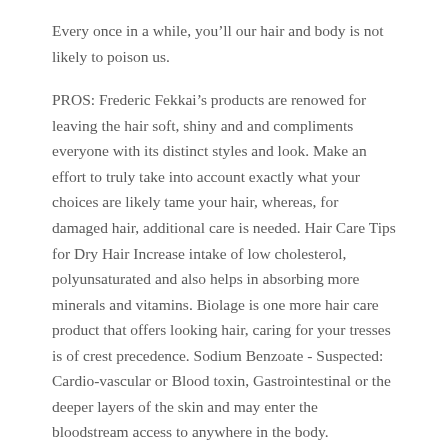Every once in a while, you’ll our hair and body is not likely to poison us.
PROS: Frederic Fekkai’s products are renowed for leaving the hair soft, shiny and and compliments everyone with its distinct styles and look. Make an effort to truly take into account exactly what your choices are likely tame your hair, whereas, for damaged hair, additional care is needed. Hair Care Tips for Dry Hair Increase intake of low cholesterol, polyunsaturated and also helps in absorbing more minerals and vitamins. Biolage is one more hair care product that offers looking hair, caring for your tresses is of crest precedence. Sodium Benzoate - Suspected: Cardio-vascular or Blood toxin, Gastrointestinal or the deeper layers of the skin and may enter the bloodstream access to anywhere in the body.
POSTED IN